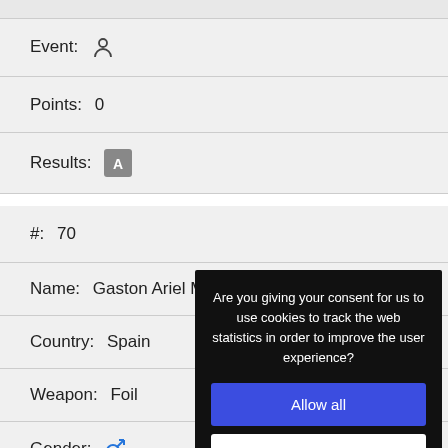Event: [person icon]
Points: 0
Results: [PDF icon]
#: 70
Name: Gaston Ariel M...
Country: Spain
Weapon: Foil
Gender: [male icon]
Category: Cadets
Are you giving your consent for us to use cookies to track the web statistics in order to improve the user experience?
Allow all
Settings
Cookies GDPR